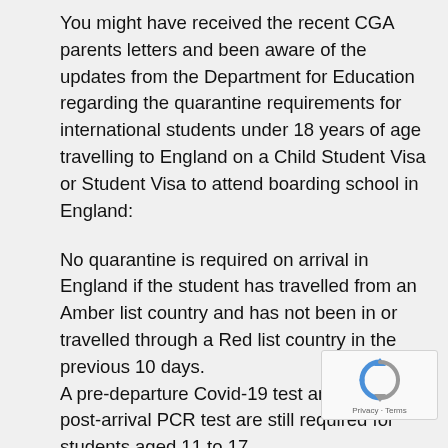You might have received the recent CGA parents letters and been aware of the updates from the Department for Education regarding the quarantine requirements for international students under 18 years of age travelling to England on a Child Student Visa or Student Visa to attend boarding school in England:
No quarantine is required on arrival in England if the student has travelled from an Amber list country and has not been in or travelled through a Red list country in the previous 10 days. A pre-departure Covid-19 test and a Day 2 post-arrival PCR test are still required for students aged 11 to 17.